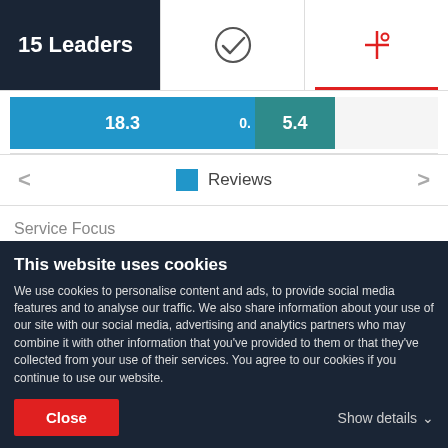15 Leaders
[Figure (bar-chart): Reviews bar]
Reviews
Service Focus
[Figure (stacked-bar-chart): Service Focus]
This website uses cookies
We use cookies to personalise content and ads, to provide social media features and to analyse our traffic. We also share information about your use of our site with our social media, advertising and analytics partners who may combine it with other information that you've provided to them or that they've collected from your use of their services. You agree to our cookies if you continue to use our website.
Close
Show details